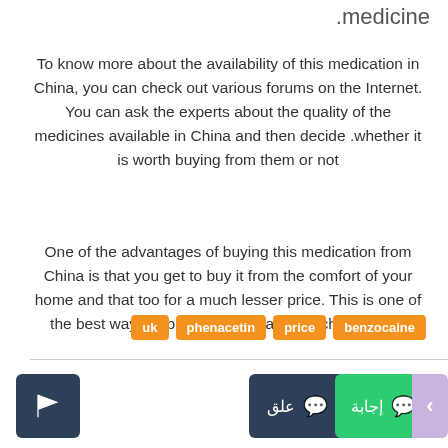.medicine
To know more about the availability of this medication in China, you can check out various forums on the Internet. You can ask the experts about the quality of the medicines available in China and then decide whether it is worth buying from them or not.
One of the advantages of buying this medication from China is that you get to buy it from the comfort of your home and that too for a much lesser price. This is one of the best ways to buy this medication at cheap rates.
uk
phenacetin
price
benzocaine
علق   إجابة